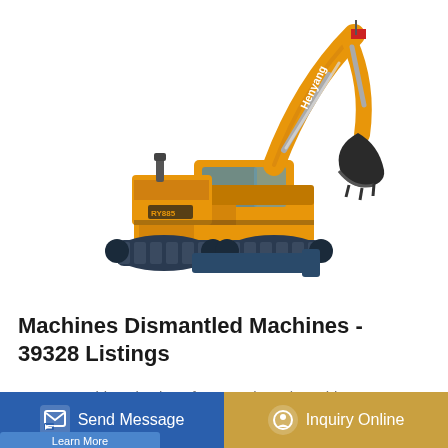[Figure (photo): Yellow Henyang (Hanyang) mini excavator/crawler excavator on white background, showing arm raised and bucket attachment, with black undercarriage tracks and dark blade attachment at front.]
Machines Dismantled Machines - 39328 Listings
Browse a wide selection of new and used Machines dismantled machines near you at MachineryTrader United ... Find Machines from CAT ... AR, DEERE and ...
Send Message
Inquiry Online